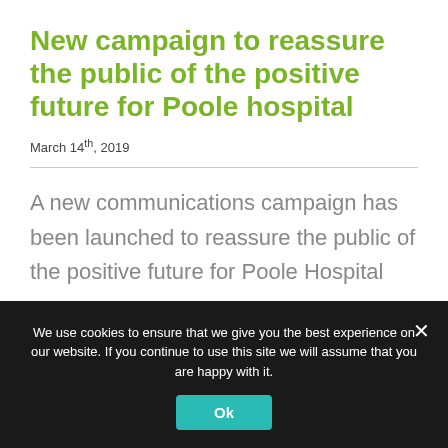New campaign to reassure the public of the positive future for Poole hospital
March 14th, 2019
A new communications campaign has been launched to reassure the public of the positive future for Poole Hospital
We use cookies to ensure that we give you the best experience on our website. If you continue to use this site we will assume that you are happy with it.